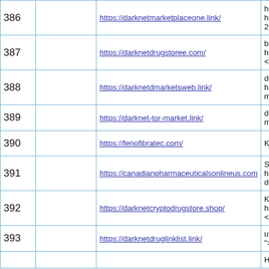| # |  | URL | Description |
| --- | --- | --- | --- |
| 386 |  | https://darknetmarketplaceone.link/ | how to dar... href="https 2022 reddit |
| 387 |  | https://darknetdrugstoree.com/ | buying thin... href="https </a> |
| 388 |  | https://darknetdmarketsweb.link/ | deep web li... href="https markets </a |
| 389 |  | https://darknet-tor-market.link/ | darknet dre market.link |
| 390 |  | https://fenofibratec.com/ | Kuteqs eeg |
| 391 |  | https://canadianpharmaceuticalsonlineus.com | Superb data https://cana doctor s pre |
| 392 |  | https://darknetcryptodrugstore.shop/ | Kingdom M href="https </a> |
| 393 |  | https://darknetdruglinklist.link/ | uk darknet ">live dark |
|  |  |  | Heineken E |